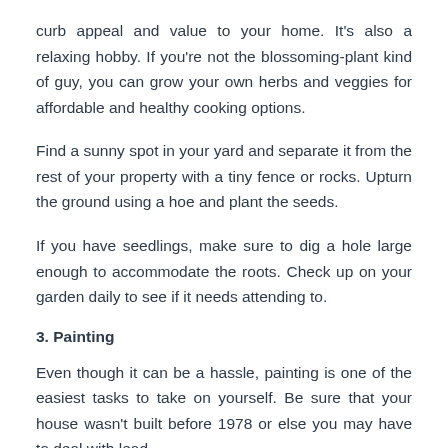curb appeal and value to your home. It's also a relaxing hobby. If you're not the blossoming-plant kind of guy, you can grow your own herbs and veggies for affordable and healthy cooking options.
Find a sunny spot in your yard and separate it from the rest of your property with a tiny fence or rocks. Upturn the ground using a hoe and plant the seeds.
If you have seedlings, make sure to dig a hole large enough to accommodate the roots. Check up on your garden daily to see if it needs attending to.
3. Painting
Even though it can be a hassle, painting is one of the easiest tasks to take on yourself. Be sure that your house wasn't built before 1978 or else you may have to deal with lead